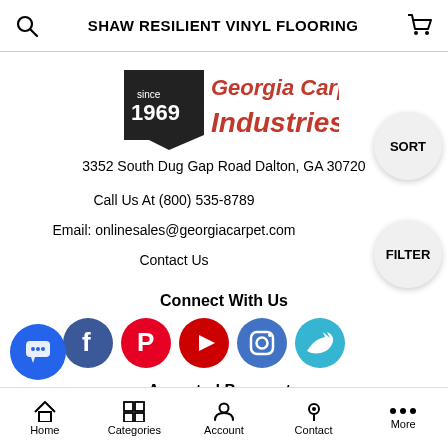SHAW RESILIENT VINYL FLOORING
[Figure (logo): Georgia Carpet Industries logo with state of Georgia silhouette, 'since 1969' text, and bold red 'Georgia Carpet Industries' text]
3352 South Dug Gap Road Dalton, GA 30720
Call Us At (800) 535-8789
Email: onlinesales@georgiacarpet.com
Contact Us
Connect With Us
[Figure (infographic): Row of social media icons: Facebook (dark blue), Pinterest (red), YouTube (red), Instagram (blue), Twitter (cyan)]
Accepted Payments
Home | Categories | Account | Contact | More